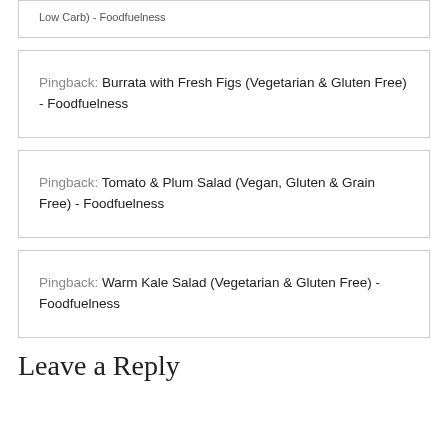Low Carb) - Foodfuelness
Pingback: Burrata with Fresh Figs (Vegetarian & Gluten Free) - Foodfuelness
Pingback: Tomato & Plum Salad (Vegan, Gluten & Grain Free) - Foodfuelness
Pingback: Warm Kale Salad (Vegetarian & Gluten Free) - Foodfuelness
Leave a Reply